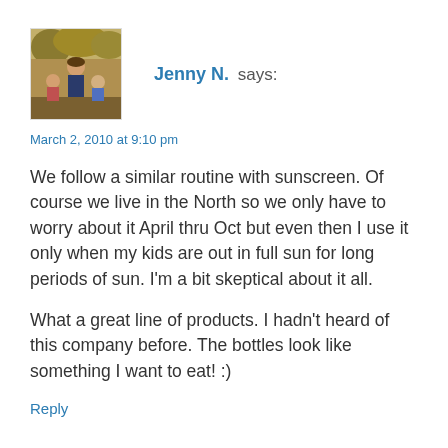[Figure (photo): Small square avatar photo of a family (woman and children) outdoors with autumn foliage background]
Jenny N. says:
March 2, 2010 at 9:10 pm
We follow a similar routine with sunscreen. Of course we live in the North so we only have to worry about it April thru Oct but even then I use it only when my kids are out in full sun for long periods of sun. I'm a bit skeptical about it all.
What a great line of products. I hadn't heard of this company before. The bottles look like something I want to eat! :)
Reply